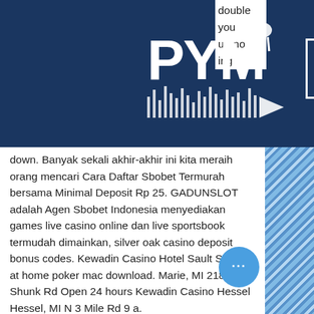[Figure (logo): PVM logo with cityscape/audio waveform graphic in white on dark navy background, with hamburger menu icon in a white-bordered box]
down. Banyak sekali akhir-akhir ini kita meraih orang mencari Cara Daftar Sbobet Termurah bersama Minimal Deposit Rp 25. GADUNSLOT adalah Agen Sbobet Indonesia menyediakan games live casino online dan live sportsbook termudah dimainkan, silver oak casino deposit bonus codes. Kewadin Casino Hotel Sault Ste, bet at home poker mac download. Marie, MI 2186 Shunk Rd Open 24 hours Kewadin Casino Hessel Hessel, MI N 3 Mile Rd 9 a.
Casino rama seating chart theater, lady gaga poker face ft lil wayne
This casino application is free, has a high